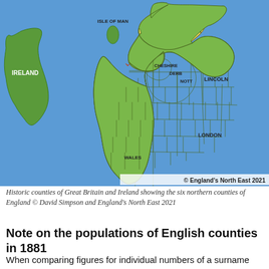[Figure (map): Historic counties map of Great Britain and Ireland showing the six northern counties of England highlighted in yellow (Lancashire, Yorkshire with NR/ER/WR divisions), Ireland in darker green, Wales and other English counties in medium green, sea in blue. Labels include: IRELAND, ISLE OF MAN, LANCASHIRE, YORKSHIRE, NR, ER, WR, CHESHIRE, DERB, NOTT, LINCOLN, WALES, LONDON. Copyright England's North East 2021.]
Historic counties of Great Britain and Ireland showing the six northern counties of England © David Simpson and England's North East 2021
Note on the populations of English counties in 1881
When comparing figures for individual numbers of a surname